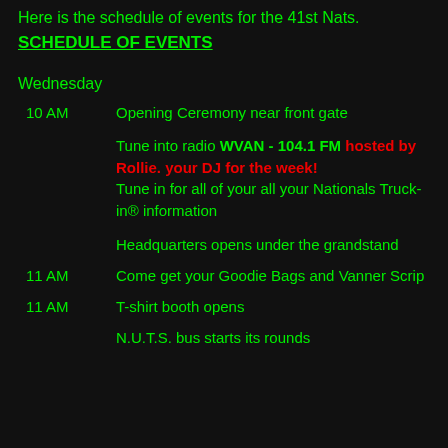Here is the schedule of events for the 41st Nats.
SCHEDULE OF EVENTS
Wednesday
10 AM   Opening Ceremony near front gate
Tune into radio WVAN - 104.1 FM hosted by Rollie. your DJ for the week! Tune in for all of your all your Nationals Truck-in® information
Headquarters opens under the grandstand
11 AM   Come get your Goodie Bags and Vanner Scrip
11 AM   T-shirt booth opens
N.U.T.S. bus starts its rounds